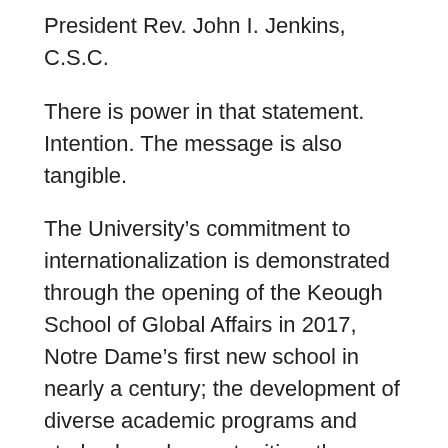President Rev. John I. Jenkins, C.S.C.
There is power in that statement. Intention. The message is also tangible.
The University's commitment to internationalization is demonstrated through the opening of the Keough School of Global Affairs in 2017, Notre Dame's first new school in nearly a century; the development of diverse academic programs and study abroad opportunities; the recruitment of more international students and faculty; the financial support of collaborative and innovative faculty research abroad; and the deepening existing of global partnerships and programs and the genesis of even more.
While all departments and divisions are called to take part in the extension of the University's global reach and impact, Notre Dame International and the Keough School of Global Affairs are the catalysts in